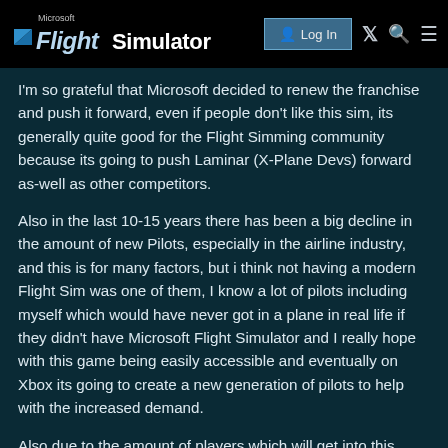Microsoft Flight Simulator — Log In
I'm so grateful that Microsoft decided to renew the franchise and push it forward, even if people don't like this sim, its generally quite good for the Flight Simming community because its going to push Laminar (X-Plane Devs) forward as-well as other competitors.
Also in the last 10-15 years there has been a big decline in the amount of new Pilots, especially in the airline industry, and this is for many factors, but i think not having a modern Flight Sim was one of them, I know a lot of pilots including myself which would have never got in a plane in real life if they didn't have Microsoft Flight Simulator and I really hope with this game being easily accessible and eventually on Xbox its going to create a new generation of pilots to help with the increased demand.
Also due to the amount of players which will get into this hobby now its going to make 3rd Party Devs of planes gain more money and be able to grow and do more ambitious projects and perhaps eventually may reduce the cost of addons in all sims.